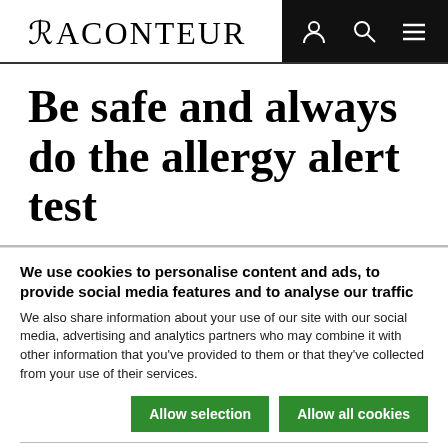RACONTEUR
Be safe and always do the allergy alert test
We use cookies to personalise content and ads, to provide social media features and to analyse our traffic
We also share information about your use of our site with our social media, advertising and analytics partners who may combine it with other information that you've provided to them or that they've collected from your use of their services.